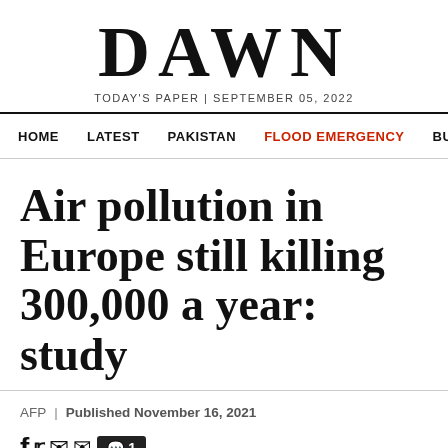DAWN
TODAY'S PAPER | SEPTEMBER 05, 2022
HOME  LATEST  PAKISTAN  FLOOD EMERGENCY  BUSINESS
Air pollution in Europe still killing 300,000 a year: study
AFP | Published November 16, 2021
[Figure (photo): Gray gradient background photo, bottom portion of article image]